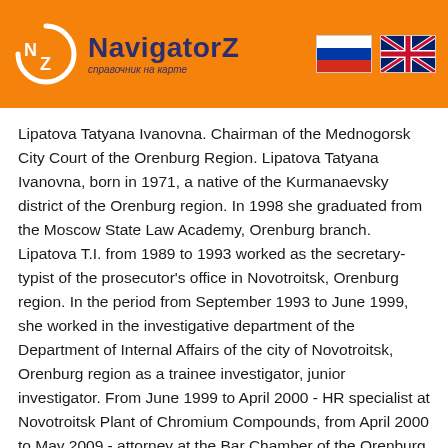[Figure (logo): NavigatorZ logo with orange circle containing NZ letters and text 'справочник на карте', with Russian and UK flag icons on the right]
Lipatova Tatyana Ivanovna. Chairman of the Mednogorsk City Court of the Orenburg Region. Lipatova Tatyana Ivanovna, born in 1971, a native of the Kurmanaevsky district of the Orenburg region. In 1998 she graduated from the Moscow State Law Academy, Orenburg branch. Lipatova T.I. from 1989 to 1993 worked as the secretary-typist of the prosecutor's office in Novotroitsk, Orenburg region. In the period from September 1993 to June 1999, she worked in the investigative department of the Department of Internal Affairs of the city of Novotroitsk, Orenburg region as a trainee investigator, junior investigator. From June 1999 to April 2000 - HR specialist at Novotroitsk Plant of Chromium Compounds, from April 2000 to May 2009 - attorney at the Bar Chamber of the Orenburg Region. By the Decree of the Legislative Assembly of the Orenburg Region of June 17, 2009, she was appointed as the Justice of the Peace of the court district No. 1 of Mednogorsk, the Orenburg Region. Has no academic degree and title. By the Decree of the President of the Russian Federation of 25.07.2013 No. 644, she was